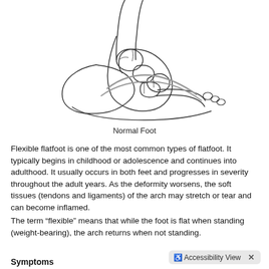[Figure (illustration): Line drawing illustration of a Normal Foot showing lateral view of foot bones including ankle, heel, arch, and toe bones with arch ligament lines drawn across the mid-foot bones.]
Normal Foot
Flexible flatfoot is one of the most common types of flatfoot. It typically begins in childhood or adolescence and continues into adulthood. It usually occurs in both feet and progresses in severity throughout the adult years. As the deformity worsens, the soft tissues (tendons and ligaments) of the arch may stretch or tear and can become inflamed.
The term “flexible” means that while the foot is flat when standing (weight-bearing), the arch returns when not standing.
Symptoms